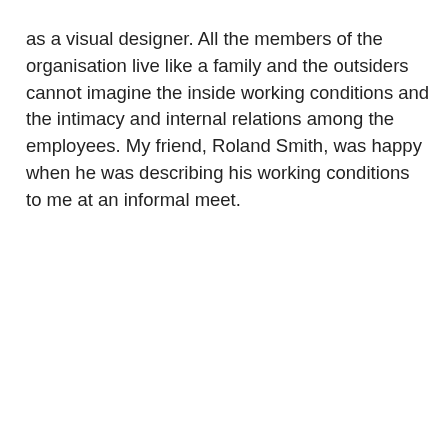as a visual designer. All the members of the organisation live like a family and the outsiders cannot imagine the inside working conditions and the intimacy and internal relations among the employees. My friend, Roland Smith, was happy when he was describing his working conditions to me at an informal meet.